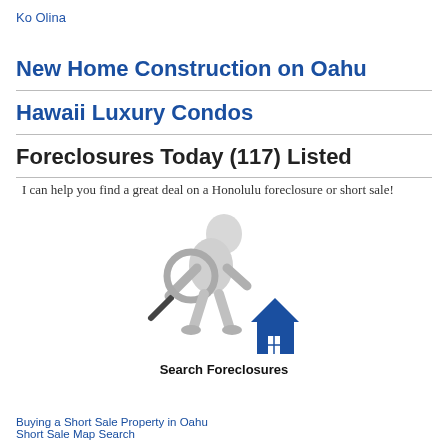Ko Olina
New Home Construction on Oahu
Hawaii Luxury Condos
Foreclosures Today (117) Listed
I can help you find a great deal on a Honolulu foreclosure or short sale!
[Figure (illustration): A white 3D figure holding a magnifying glass examining a blue house icon, with text below reading 'Search Foreclosures']
Buying a Short Sale Property in Oahu
Short Sale Map Search